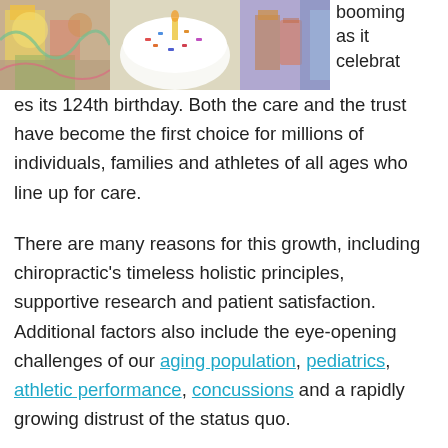[Figure (photo): Birthday party photo showing a white frosted cake with colorful sprinkles, party decorations, and drinks in the background.]
booming as it celebrates its 124th birthday. Both the care and the trust have become the first choice for millions of individuals, families and athletes of all ages who line up for care.
There are many reasons for this growth, including chiropractic's timeless holistic principles, supportive research and patient satisfaction. Additional factors also include the eye-opening challenges of our aging population, pediatrics, athletic performance, concussions and a rapidly growing distrust of the status quo.